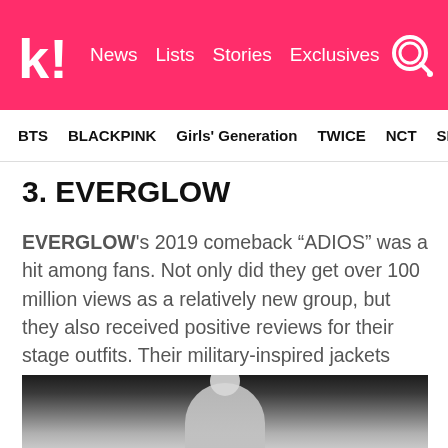k! News Lists Stories Exclusives
BTS BLACKPINK Girls' Generation TWICE NCT SEVE
3. EVERGLOW
EVERGLOW's 2019 comeback “ADIOS” was a hit among fans. Not only did they get over 100 million views as a relatively new group, but they also received positive reviews for their stage outfits. Their military-inspired jackets were decked with medals and personalized with their own name tags.
[Figure (photo): Photo of an EVERGLOW member with blonde hair, wearing a military-style outfit, against a dark background.]